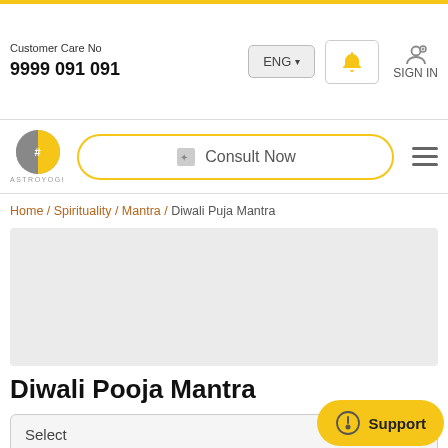Customer Care No 9999 091 091 | ENG | SIGN IN
[Figure (logo): Astroyogi logo with moon/sun circle and Consult Now button]
Home / Spirituality / Mantra / Diwali Puja Mantra
[Figure (other): Advertisement placeholder area (light gray box)]
Diwali Pooja Mantra
Select
Diwali - the festival of lights is one of the most celebrated festivals of India. People worship Goddess Lakshmi a... this day and seek their blessings. It is said that those who recite